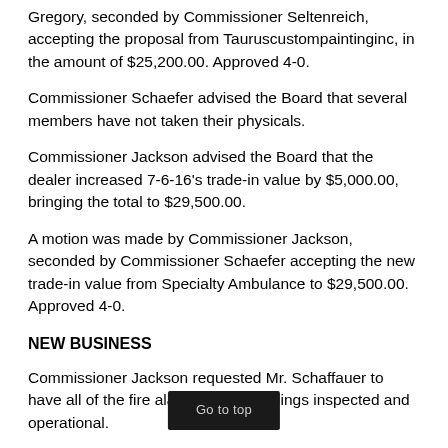Gregory, seconded by Commissioner Seltenreich, accepting the proposal from Tauruscustompaintinginc, in the amount of $25,200.00. Approved 4-0.
Commissioner Schaefer advised the Board that several members have not taken their physicals.
Commissioner Jackson advised the Board that the dealer increased 7-6-16's trade-in value by $5,000.00, bringing the total to $29,500.00.
A motion was made by Commissioner Jackson, seconded by Commissioner Schaefer accepting the new trade-in value from Specialty Ambulance to $29,500.00. Approved 4-0.
NEW BUSINESS
Commissioner Jackson requested Mr. Schaffauer to have all of the fire alarms in the buildings inspected and operational.
A motion was made by Commissioner Jackson, seconded by Commissioner Seltenreich, granting or the